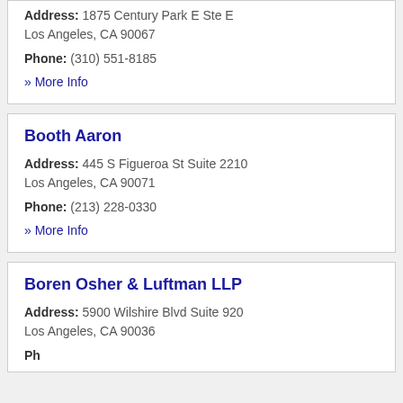Address: 1875 Century Park E Ste E
Los Angeles, CA 90067
Phone: (310) 551-8185
» More Info
Booth Aaron
Address: 445 S Figueroa St Suite 2210
Los Angeles, CA 90071
Phone: (213) 228-0330
» More Info
Boren Osher & Luftman LLP
Address: 5900 Wilshire Blvd Suite 920
Los Angeles, CA 90036
Phone: (partial)